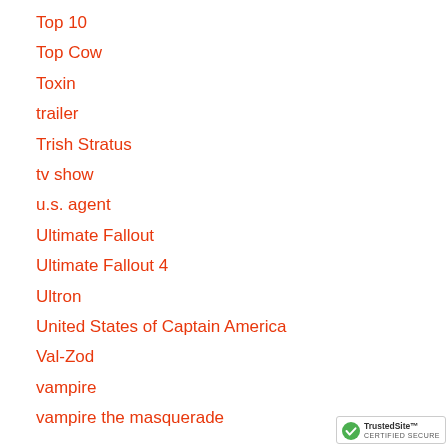Top 10
Top Cow
Toxin
trailer
Trish Stratus
tv show
u.s. agent
Ultimate Fallout
Ultimate Fallout 4
Ultron
United States of Captain America
Val-Zod
vampire
vampire the masquerade